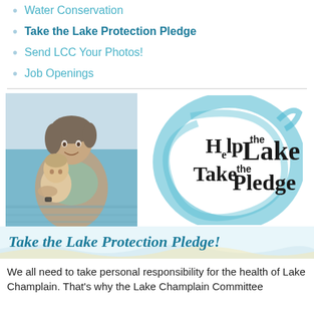Water Conservation
Take the Lake Protection Pledge
Send LCC Your Photos!
Job Openings
[Figure (photo): Woman holding a baby/toddler in water, smiling]
[Figure (logo): Help the Lake Take the Pledge logo with blue swirl circles and bold text]
Take the Lake Protection Pledge!
We all need to take personal responsibility for the health of Lake Champlain. That's why the Lake Champlain Committee